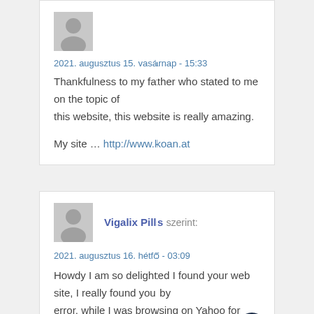2021. augusztus 15. vasárnap - 15:33
Thankfulness to my father who stated to me on the topic of this website, this website is really amazing.
My site … http://www.koan.at
Vigalix Pills szerint:
2021. augusztus 16. hétfő - 03:09
Howdy I am so delighted I found your web site, I really found you by error, while I was browsing on Yahoo for something